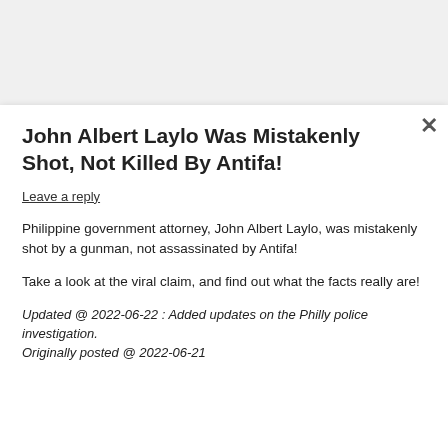John Albert Laylo Was Mistakenly Shot, Not Killed By Antifa!
Leave a reply
Philippine government attorney, John Albert Laylo, was mistakenly shot by a gunman, not assassinated by Antifa!
Take a look at the viral claim, and find out what the facts really are!
Updated @ 2022-06-22 : Added updates on the Philly police investigation.
Originally posted @ 2022-06-21